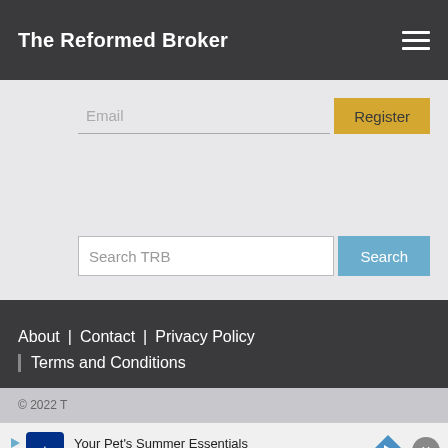The Reformed Broker
Email | Register
Search TRB | Search
About | Contact | Privacy Policy | Terms and Conditions
© 2022 The Reformed Broker
[Figure (screenshot): Petco advertisement banner: 'Your Pet's Summer Essentials' with Petco logo and navigation arrow icon, with close button]